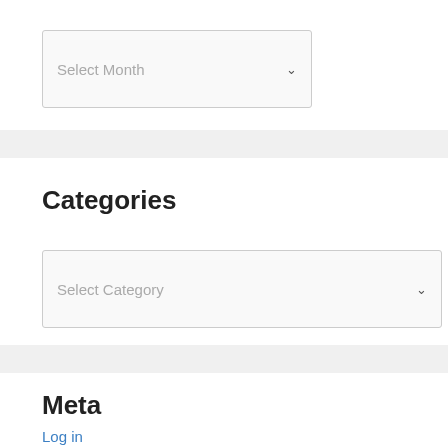[Figure (screenshot): Dropdown select box with placeholder text 'Select Month' and a chevron arrow on the right]
Categories
[Figure (screenshot): Dropdown select box with placeholder text 'Select Category' and a chevron arrow on the right]
Meta
Log in